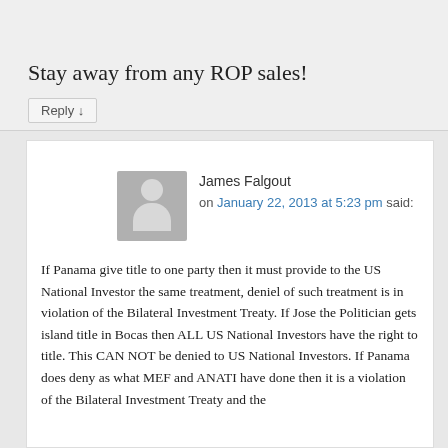Stay away from any ROP sales!
Reply ↓
James Falgout
on January 22, 2013 at 5:23 pm said:
If Panama give title to one party then it must provide to the US National Investor the same treatment, deniel of such treatment is in violation of the Bilateral Investment Treaty. If Jose the Politician gets island title in Bocas then ALL US National Investors have the right to title. This CAN NOT be denied to US National Investors. If Panama does deny as what MEF and ANATI have done then it is a violation of the Bilateral Investment Treaty and the